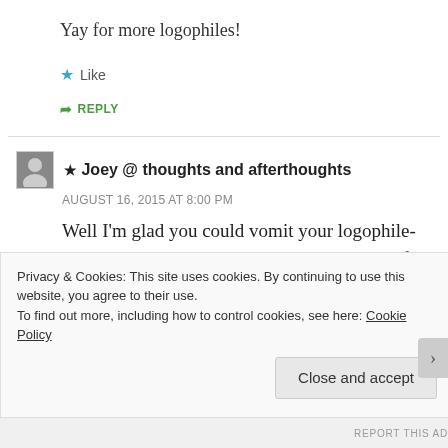Yay for more logophiles!
Like
REPLY
★ Joey @ thoughts and afterthoughts
AUGUST 16, 2015 AT 8:00 PM
Well I'm glad you could vomit your logophile-ness all over your comment then. See: even if I read your word/def'n of Cruicverbalist, I don't think there's a situation that I'd ever seeing myself using it IRL, and so
Privacy & Cookies: This site uses cookies. By continuing to use this website, you agree to their use.
To find out more, including how to control cookies, see here: Cookie Policy
Close and accept